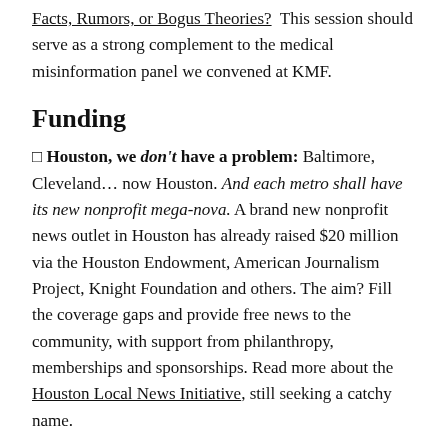Facts, Rumors, or Bogus Theories?  This session should serve as a strong complement to the medical misinformation panel we convened at KMF.
Funding
□ Houston, we don't have a problem: Baltimore, Cleveland… now Houston. And each metro shall have its new nonprofit mega-nova. A brand new nonprofit news outlet in Houston has already raised $20 million via the Houston Endowment, American Journalism Project, Knight Foundation and others. The aim? Fill the coverage gaps and provide free news to the community, with support from philanthropy, memberships and sponsorships. Read more about the Houston Local News Initiative, still seeking a catchy name.
News @ Knight Credits